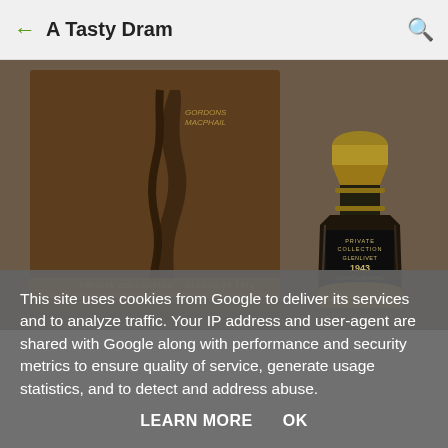A Tasty Dram
[Figure (photo): A luxury whisky box set showing a wooden display case with a carved profile silhouette on the left, and a decanter-style crystal bottle with gold details and dark label reading 'Private Collection Glenlivet 1943' on the right.]
This site uses cookies from Google to deliver its services and to analyze traffic. Your IP address and user-agent are shared with Google along with performance and security metrics to ensure quality of service, generate usage statistics, and to detect and address abuse.
LEARN MORE    OK